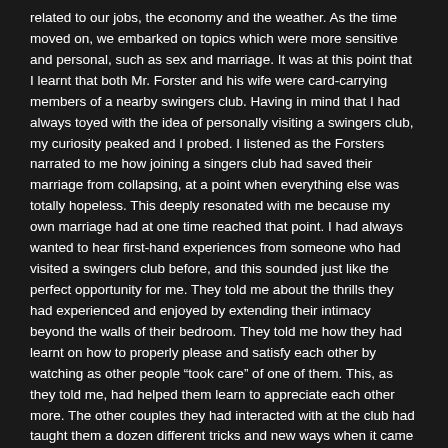related to our jobs, the economy and the weather. As the time moved on, we embarked on topics which were more sensitive and personal, such as sex and marriage. It was at this point that I learnt that both Mr. Forster and his wife were card-carrying members of a nearby swingers club. Having in mind that I had always toyed with the idea of personally visiting a swingers club, my curiosity peaked and I probed. I listened as the Forsters narrated to me how joining a singers club had saved their marriage from collapsing, at a point when everything else was totally hopeless. This deeply resonated with me because my own marriage had at one time reached that point. I had always wanted to hear first-hand experiences from someone who had visited a swingers club before, and this sounded just like the perfect opportunity for me. They told me about the thrills they had experienced and enjoyed by extending their intimacy beyond the walls of their bedroom. They told me how they had learnt on how to properly please and satisfy each other by watching as other people “took care” of one of them. This, as they told me, had helped them learn to appreciate each other more. The other couples they had interacted with at the club had taught them a dozen different tricks and new ways when it came to matters of the bedroom. This, according to them, had gone a very long way in spicing up their sex life.
As I learnt that a swingers club provides an open space where couple can swap partners and engage in everything without judgment and just experience pleasure, the desire for me to visit a swingers club reached an all-time high. With so many like-minded couples who have convened for the same purpose, a swingers club is the ideal place for people who want a taste for variety! As I